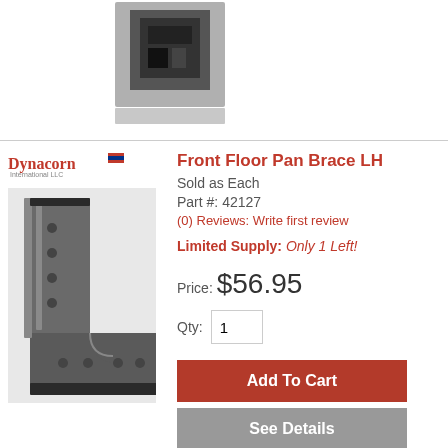[Figure (photo): Partial view of a metal auto part (clipped from previous product listing) at top of page]
[Figure (logo): Dynacorn International LLC brand logo]
Front Floor Pan Brace LH
Sold as Each
Part #: 42127
(0) Reviews: Write first review
Limited Supply: Only 1 Left!
Price: $56.95
Qty: 1
[Figure (photo): Photo of Front Floor Pan Brace LH metal auto part, L-shaped bracket with holes]
Add To Cart
See Details
[Figure (logo): Dynacorn International LLC brand logo (second product)]
Front Floor Pan Brace RH
Sold as Each
Part #: 42128
[Figure (photo): Partial photo of Front Floor Pan Brace RH metal auto part (clipped at bottom)]